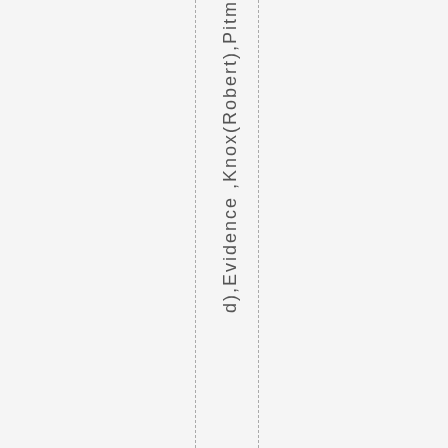d), Evidence, Knox (Robert), Pitm